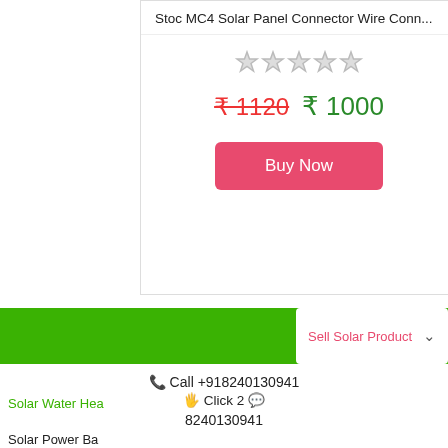Stoc MC4 Solar Panel Connector Wire Conn...
[Figure (other): Five empty star rating icons]
₹1120  ₹ 1000
Buy Now
Sell Solar Product
S
📞 Call +918240130941
Solar Water Hea
🖐 Click 2 💬 8240130941
Solar Power Ba